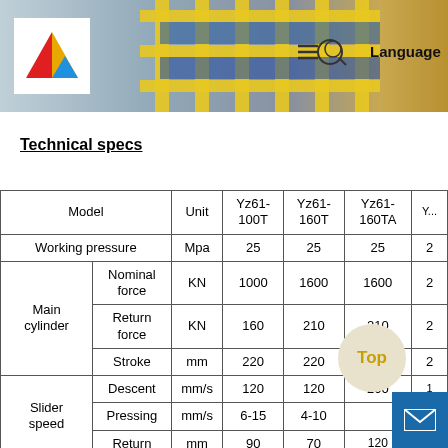[Figure (photo): Website header banner showing yellow industrial grid/rack structure with blue machinery, with a company logo (red and yellow diamond shape on white background) in the top left and 'Language' navigation text on the right]
Technical specs
| Model |  | Unit | Yz61-100T | Yz61-160T | Yz61-160TA | Y... |
| --- | --- | --- | --- | --- | --- | --- |
| Working pressure |  | Mpa | 25 | 25 | 25 | 2 |
| Main cylinder | Nominal force | KN | 1000 | 1600 | 1600 | 2 |
| Main cylinder | Return force | KN | 160 | 210 | 210 | 2 |
| Main cylinder | Stroke | mm | 220 | 220 | 500 | 2 |
| Slider speed | Descent | mm/s | 120 | 120 | 200 | 1 |
| Slider speed | Pressing | mm/s | 6-15 | 4-10 |  | 3 |
| Slider speed | Return | mm | 90 | 70 | 120 | 1 |
|  | Nominal |  |  |  |  |  |